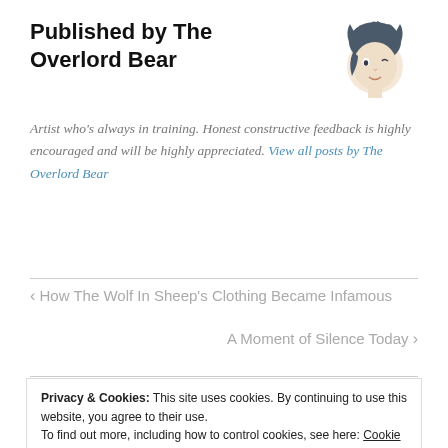Published by The Overlord Bear
[Figure (illustration): Sketch illustration of a person with dark messy hair, anime-style, facing slightly right]
Artist who's always in training. Honest constructive feedback is highly encouraged and will be highly appreciated. View all posts by The Overlord Bear
‹ How The Wolf In Sheep's Clothing Became Infamous
A Moment of Silence Today ›
Privacy & Cookies: This site uses cookies. By continuing to use this website, you agree to their use.
To find out more, including how to control cookies, see here: Cookie Policy
Close and accept
Your email address will not be published. Required